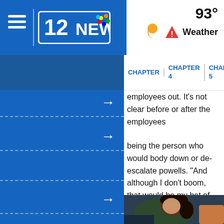[Figure (screenshot): 12NEWS NBC logo in white on blue header bar]
93°
Weather
CHAPTER 4   CHAPTER 5
employees out. It's not clear before or after the employees
being the person who would body down or de-escalate powells. "And although I don't boom, that would be my bet of
[Figure (photo): Person with dark curly hair seen from behind/side, wearing dark clothing, seated]